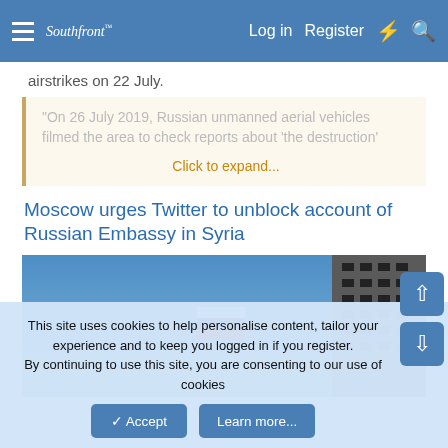Southfront — Log in  Register
airstrikes on 22 July.
“On 26 July 2019, Russian unmanned aerial vehicles filmed the area to check reports about ‘the destruction’
Click to expand...
Moscow urges Twitter to unblock account of Russian Embassy in Syria
[Figure (photo): Photo of a Russian flag on a flagpole in front of a large building against a blue sky]
This site uses cookies to help personalise content, tailor your experience and to keep you logged in if you register. By continuing to use this site, you are consenting to our use of cookies
Accept   Learn more...